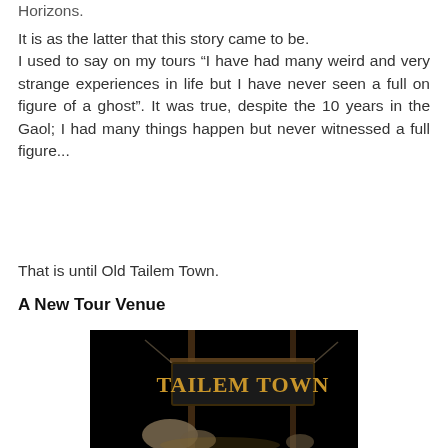Horizons.
It is as the latter that this story came to be.
I used to say on my tours “I have had many weird and very strange experiences in life but I have never seen a full on figure of a ghost”. It was true, despite the 10 years in the Gaol; I had many things happen but never witnessed a full figure...
That is until Old Tailem Town.
A New Tour Venue
[Figure (photo): Night-time photograph of the Tailem Town sign — gold/yellow lettering reading 'TAILEM TOWN' on a dark wooden sign board, illuminated against a black background with rocks visible at the base.]